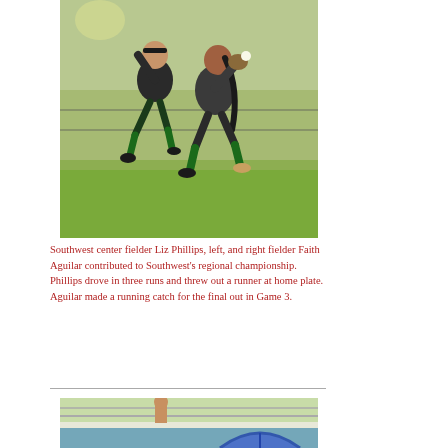[Figure (photo): Two female softball players in dark uniforms jumping mid-air on a grass field, appearing to celebrate or collide during a play.]
Southwest center fielder Liz Phillips, left, and right fielder Faith Aguilar contributed to Southwest's regional championship. Phillips drove in three runs and threw out a runner at home plate. Aguilar made a running catch for the final out in Game 3.
[Figure (photo): Partial photo of a sports scene, partially visible at the bottom of the page.]